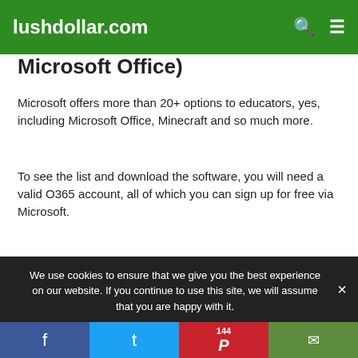lushdollar.com
Microsoft Office)
Microsoft offers more than 20+ options to educators, yes, including Microsoft Office, Minecraft and so much more.
To see the list and download the software, you will need a valid O365 account, all of which you can sign up for free via Microsoft.
This is probably one of the best freebies on the list, so be sure to take advantage.
Website: Microsoft.com
We use cookies to ensure that we give you the best experience on our website. If you continue to use this site, we will assume that you are happy with it.
Facebook | Twitter | 144 Pinterest | Email